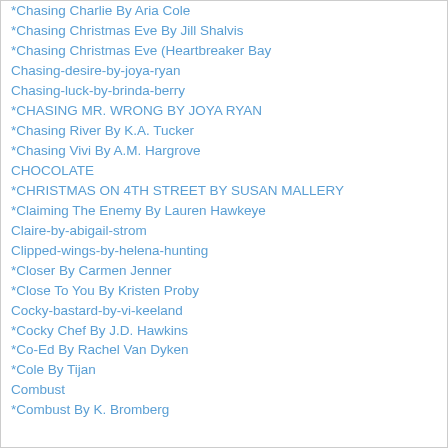*Chasing Charlie By Aria Cole
*Chasing Christmas Eve By Jill Shalvis
*Chasing Christmas Eve (Heartbreaker Bay
Chasing-desire-by-joya-ryan
Chasing-luck-by-brinda-berry
*CHASING MR. WRONG BY JOYA RYAN
*Chasing River By K.A. Tucker
*Chasing Vivi By A.M. Hargrove
CHOCOLATE
*CHRISTMAS ON 4TH STREET BY SUSAN MALLERY
*Claiming The Enemy By Lauren Hawkeye
Claire-by-abigail-strom
Clipped-wings-by-helena-hunting
*Closer By Carmen Jenner
*Close To You By Kristen Proby
Cocky-bastard-by-vi-keeland
*Cocky Chef By J.D. Hawkins
*Co-Ed By Rachel Van Dyken
*Cole By Tijan
Combust
*Combust By K. Bromberg